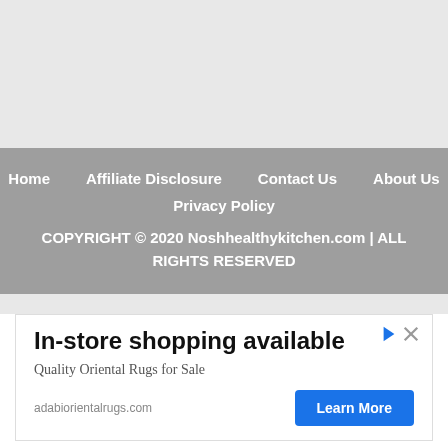Home   Affiliate Disclosure   Contact Us   About Us
Privacy Policy
COPYRIGHT © 2020 Noshhealthykitchen.com | ALL RIGHTS RESERVED
[Figure (screenshot): Advertisement banner: In-store shopping available. Quality Oriental Rugs for Sale. adabiorientalrugs.com. Learn More button.]